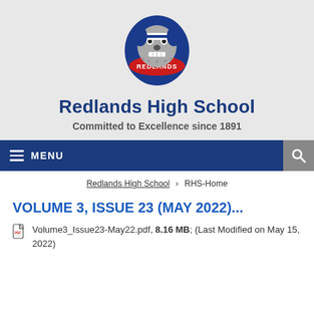[Figure (logo): Redlands High School bulldog mascot logo with blue and red colors and 'REDLANDS' banner]
Redlands High School
Committed to Excellence since 1891
MENU
Redlands High School > RHS-Home
VOLUME 3, ISSUE 23 (MAY 2022)...
Volume3_Issue23-May22.pdf, 8.16 MB; (Last Modified on May 15, 2022)